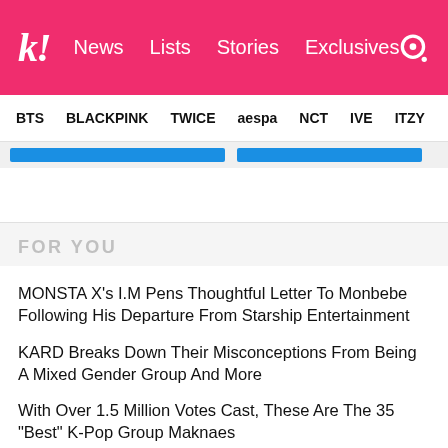koreaboo | News | Lists | Stories | Exclusives
BTS  BLACKPINK  TWICE  aespa  NCT  IVE  ITZY
FOR YOU
MONSTA X's I.M Pens Thoughtful Letter To Monbebe Following His Departure From Starship Entertainment
KARD Breaks Down Their Misconceptions From Being A Mixed Gender Group And More
With Over 1.5 Million Votes Cast, These Are The 35 "Best" K-Pop Group Maknaes
BLACKPINK's Lisa Wowed With Her Multilingual 2022 VMAs Speech, But BLINKs Noticed Something Heartwarming About Her Words